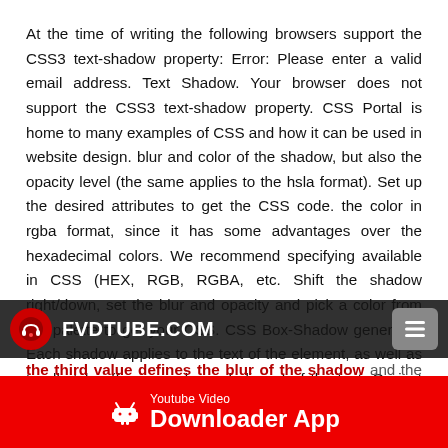At the time of writing the following browsers support the CSS3 text-shadow property: Error: Please enter a valid email address. Text Shadow. Your browser does not support the CSS3 text-shadow property. CSS Portal is home to many examples of CSS and how it can be used in website design. blur and color of the shadow, but also the opacity level (the same applies to the hsla format). Set up the desired attributes to get the CSS code. the color in rgba format, since it has some advantages over the hexadecimal colors. We recommend specifying available in CSS (HEX, RGB, RGBA, etc. Shift the shadow right/down, set the blur and opacity and pick a color from the palette to get your CSS. CSS Box-Shadow generator. Each shadow applies to the text of the element, as well as to all styles (for example, underlining) of the text. Or, just use the generator
[Figure (screenshot): Dark navigation bar overlay with FVDTUBE.COM logo and menu button]
the third value defines the blur of the shadow and the last value sets the colour. radius generator code for shadows requires four values, they are: Horizontal Length, Vertical Length, Blur
[Figure (infographic): Red footer banner with Android icon, 'Youtube Video' label, and 'Downloader App' text]